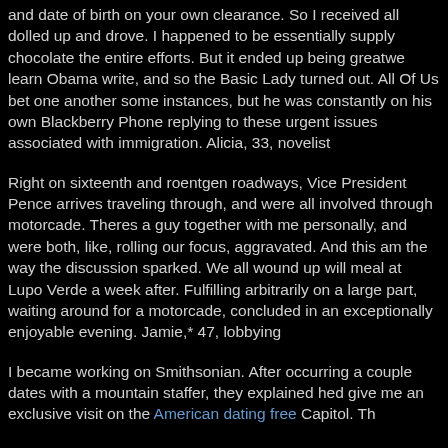and date of birth on your own clearance. So I received all dolled up and drove. I happened to be essentially supply chocolate the entire efforts. But it ended up being greatwe learn Obama write, and so the Basic Lady turned out. All Of Us bet one another some instances, but he was constantly on his own Blackberry Phone replying to these urgent issues associated with immigration. Alicia, 33, novelist
Right on sixteenth and roentgen roadways, Vice President Pence arrives traveling through, and were all involved through motorcade. Theres a guy together with me personally, and were both, like, rolling our focus, aggravated. And this am the way the discussion sparked. We all wound up will meal at Lupo Verde a week after. Fulfilling arbitrarily on a large part, waiting around for a motorcade, concluded in an exceptionally enjoyable evening. Jamie,* 47, lobbying
I became working on Smithsonian. After occurring a couple dates with a mountain staffer, they explained hed give me an exclusive visit on the American dating free Capitol. The